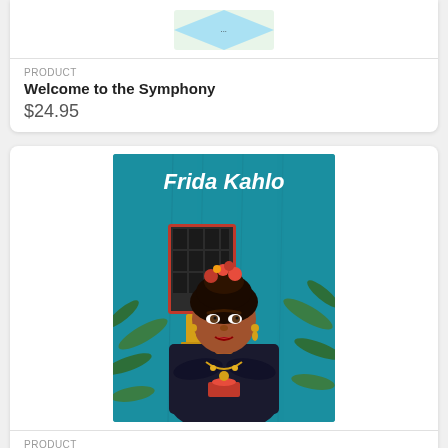[Figure (illustration): Partial view of a book cover for 'Welcome to the Symphony' showing top portion]
PRODUCT
Welcome to the Symphony
$24.95
[Figure (illustration): Book cover illustration of Frida Kahlo — colorful illustrated portrait of Frida Kahlo with flowers in her hair, wearing a dark shawl, with tropical plants and a window in the background, on a teal background. Text 'Frida Kahlo' in white at the top.]
PRODUCT
Frida Kahlo
$9.95